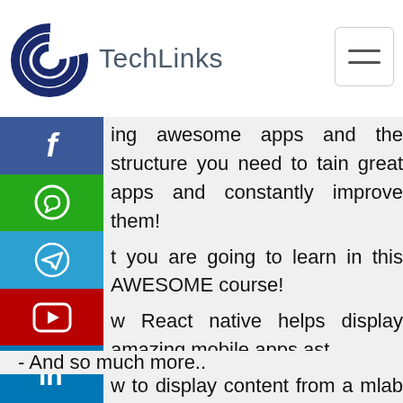TechLinks
ing awesome apps and the structure you need to tain great apps and constantly improve them!
t you are going to learn in this AWESOME course!
w React native helps display amazing mobile apps ast
w to display content from a mlab mongodb database
sic authentication using mlab
ying using HTML and CSS and a few style libraries
- And so much more..